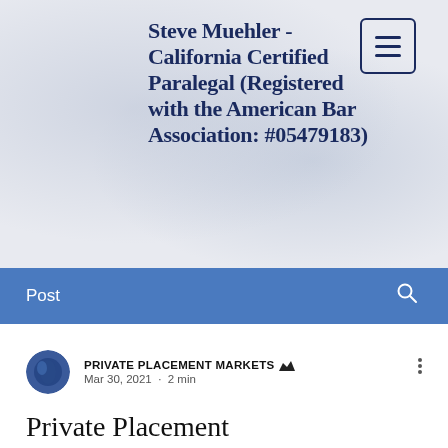[Figure (screenshot): Website header banner with speckled light blue-grey background containing bold dark navy title text and a hamburger menu button in top-right corner.]
Steve Muehler - California Certified Paralegal (Registered with the American Bar Association: #05479183)
Post
PRIVATE PLACEMENT MARKETS  Mar 30, 2021  ·  2 min
Private Placement